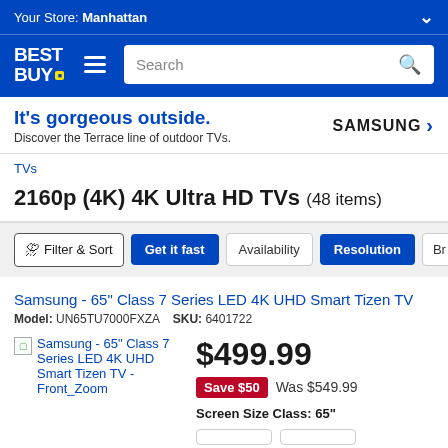Your Store: Manhattan
[Figure (logo): Best Buy logo with yellow price tag icon]
Search
It's gorgeous outside. Discover the Terrace line of outdoor TVs. SAMSUNG ›
TVs
2160p (4K) 4K Ultra HD TVs (48 items)
Filter & Sort  Get it fast  Availability  Resolution  Br...
Samsung - 65" Class 7 Series LED 4K UHD Smart Tizen TV
Model: UN65TU7000FXZA   SKU: 6401722
[Figure (photo): Samsung - 65" Class 7 Series LED 4K UHD Smart Tizen TV - Front_Zoom product image placeholder]
$499.99
Save $50  Was $549.99
Screen Size Class: 65"